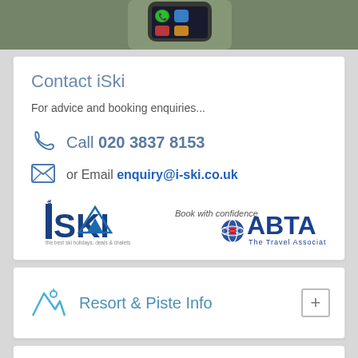[Figure (photo): Hand holding a smartphone with app icons visible, blurred background]
Contact iSki
For advice and booking enquiries...
Call 020 3837 8153
or Email enquiry@i-ski.co.uk
[Figure (logo): iSki logo (i-ski.co.uk - the best ski holidays, deals & chalets) and ABTA The Travel Association logo with 'Book with confidence' text]
Resort & Piste Info
Piste Map